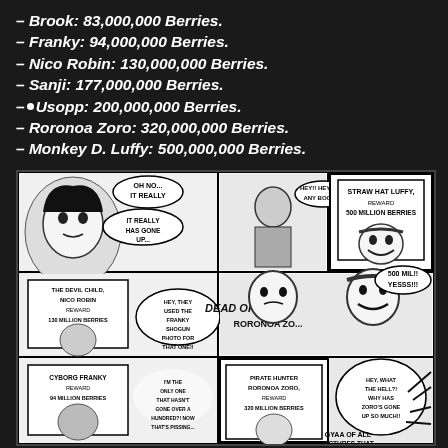– Brook: 83,000,000 Berries.
– Franky: 94,000,000 Berries.
– Nico Robin: 130,000,000 Berries.
– Sanji: 177,000,000 Berries.
– Usopp: 200,000,000 Berries.
– Roronoa Zoro: 320,000,000 Berries.
– Monkey D. Luffy: 500,000,000 Berries.
[Figure (illustration): Manga panel from One Piece showing wanted posters for Straw Hat Luffy (500 Million Berries), Pirate Hunter Roronoa Zoro (320 Million Berries), The Devil Child Nico Robin (130 Million Berries), and Cyborg Franky (94 Million Berries). Characters include Nico Robin saying 'Oh no... It really has gone up...' and someone asking 'Hey!! Hey, got any booze?' Luffy is shown grinning saying '500 MIL!! YESSS!!!' Text at bottom includes dialogue about pictures and going up.]